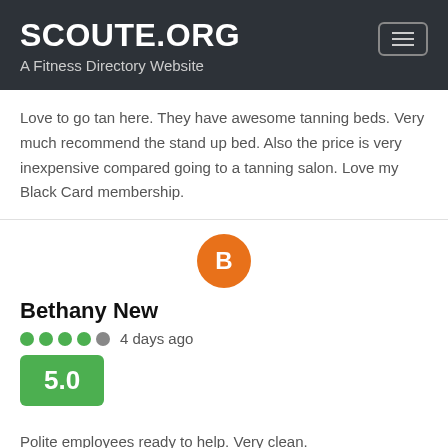SCOUTE.ORG
A Fitness Directory Website
Love to go tan here. They have awesome tanning beds. Very much recommend the stand up bed. Also the price is very inexpensive compared going to a tanning salon. Love my Black Card membership.
Bethany New
5.0  4 days ago
Polite employees ready to help. Very clean.